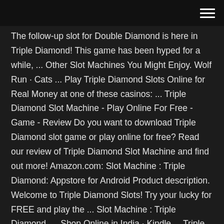The follow-up slot for Double Diamond is here in Triple Diamond! This game has been hyped for a while, ... Other Slot Machines You Might Enjoy. Wolf Run · Cats ... Play Triple Diamond Slots Online for Real Money at one of these casinos: ... Triple Diamond Slot Machine - Play Online For Free - Game - Review Do you want to download Triple Diamond slot game or play online for free? Read our review of Triple Diamond Slot Machine and find out more! Amazon.com: Slot Machine : Triple Diamond: Appstore for Android Product description. Welcome to Triple Diamond Slots! Try your lucky for FREE and play the ... Slot Machine : Triple Diamond .... Shop Online in India · Kindle ... Triple Diamond 5 slot machine by IGT play free in casino SlotMine; Free Online Slots; TRIPLE DIAMOND 5. 1 Star 2 Stars 3 ...